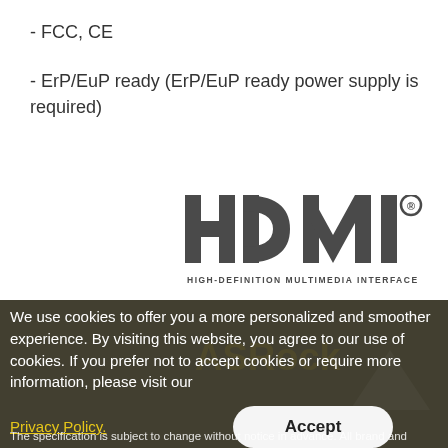- FCC, CE
- ErP/EuP ready (ErP/EuP ready power supply is required)
[Figure (logo): HDMI logo with text HIGH-DEFINITION MULTIMEDIA INTERFACE below]
We use cookies to offer you a more personalized and smoother experience. By visiting this website, you agree to our use of cookies. If you prefer not to accept cookies or require more information, please visit our
Privacy Policy.
Accept
The specification is subject to change without notice in advance. All brand and product names are trademarks of their respective companies. Any continuation other than original product specification is not